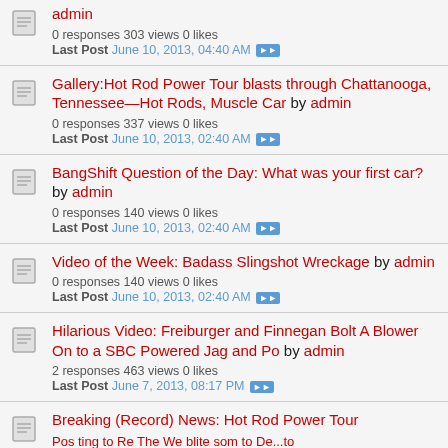admin
0 responses 303 views 0 likes
Last Post June 10, 2013, 04:40 AM
Gallery:Hot Rod Power Tour blasts through Chattanooga, Tennessee—Hot Rods, Muscle Car by admin
0 responses 337 views 0 likes
Last Post June 10, 2013, 02:40 AM
BangShift Question of the Day: What was your first car? by admin
0 responses 140 views 0 likes
Last Post June 10, 2013, 02:40 AM
Video of the Week: Badass Slingshot Wreckage by admin
0 responses 140 views 0 likes
Last Post June 10, 2013, 02:40 AM
Hilarious Video: Freiburger and Finnegan Bolt A Blower On to a SBC Powered Jag and Po by admin
2 responses 463 views 0 likes
Last Post June 7, 2013, 08:17 PM
Breaking (Record) News: Hot Rod Power Tour...